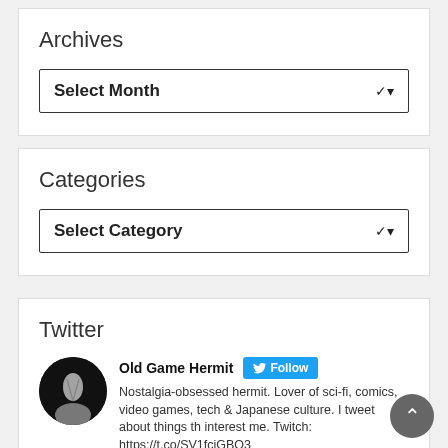Archives
Select Month
Categories
Select Category
Twitter
Old Game Hermit
Nostalgia-obsessed hermit. Lover of sci-fi, comics, video games, tech & Japanese culture. I tweet about things that interest me. Twitch: https://t.co/SV1fcjGBO3